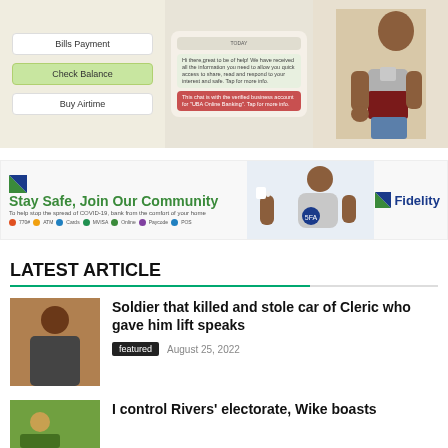[Figure (illustration): UBA banking app advertisement showing Bills Payment, Check Balance, Buy Airtime buttons, a WhatsApp chat with Leo chatbot, and an illustrated man giving thumbs up]
[Figure (illustration): Fidelity Bank banner ad: Stay Safe, Join Our Community. To help stop the spread of COVID-19, bank from the comfort of your home. With colored dots for services (770#, ATM, Cards, MVISA, Online, Paycode, POS). Image of man with coffee cup and Fidelity logo.]
LATEST ARTICLE
Soldier that killed and stole car of Cleric who gave him lift speaks
featured  August 25, 2022
I control Rivers' electorate, Wike boasts